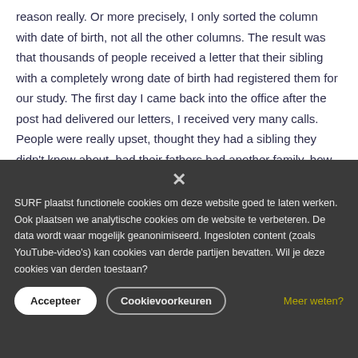reason really. Or more precisely, I only sorted the column with date of birth, not all the other columns. The result was that thousands of people received a letter that their sibling with a completely wrong date of birth had registered them for our study. The first day I came back into the office after the post had delivered our letters, I received very many calls. People were really upset, thought they had a sibling they didn't know about, had their fathers had another family, how come this sibling knew about them, but not vice
× SURF plaatst functionele cookies om deze website goed te laten werken. Ook plaatsen we analytische cookies om de website te verbeteren. De data wordt waar mogelijk geanonimiseerd. Ingesloten content (zoals YouTube-video's) kan cookies van derde partijen bevatten. Wil je deze cookies van derden toestaan?
Accepteer | Cookievoorkeuren | Meer weten?